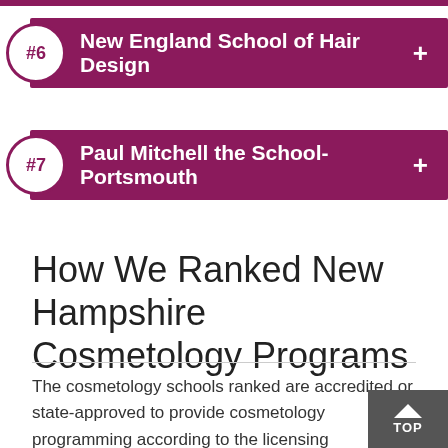#6 New England School of Hair Design
#7 Paul Mitchell the School-Portsmouth
How We Ranked New Hampshire Cosmetology Programs
The cosmetology schools ranked are accredited or state-approved to provide cosmetology programming according to the licensing requirements in the state. We researched schools that qualified as Title IV institutions and had an average of at least 25 students enrolled in the most 3 academic years of available data (2018–2020).